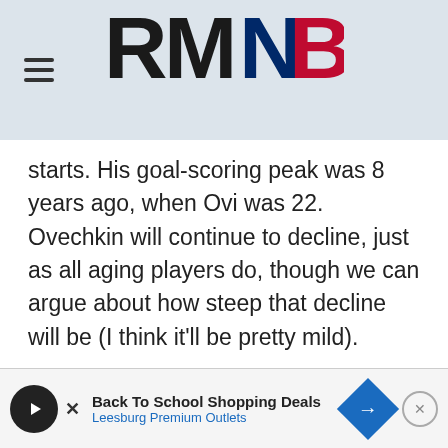RMNB
starts. His goal-scoring peak was 8 years ago, when Ovi was 22. Ovechkin will continue to decline, just as all aging players do, though we can argue about how steep that decline will be (I think it’ll be pretty mild).
That was all a long walk for me to say that I agree with your conceit that the Caps (as currently constructed) have a limited window in which they can win it all. I’ll guess that window will close 2-3 years from now, barring a mi…
[Figure (infographic): Advertisement banner: Back To School Shopping Deals - Leesburg Premium Outlets, with play button icon and navigation arrow icon]